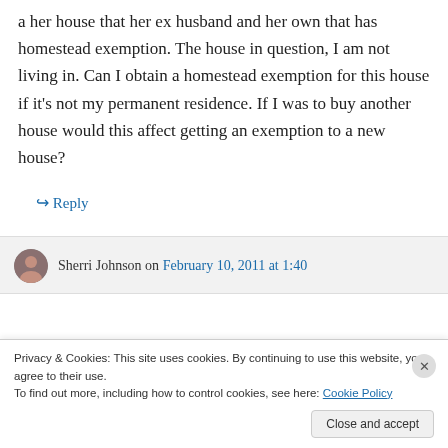a her house that her ex husband and her own that has homestead exemption. The house in question, I am not living in. Can I obtain a homestead exemption for this house if it's not my permanent residence. If I was to buy another house would this affect getting an exemption to a new house?
↳ Reply
Sherri Johnson on February 10, 2011 at 1:40
Privacy & Cookies: This site uses cookies. By continuing to use this website, you agree to their use.
To find out more, including how to control cookies, see here: Cookie Policy
Close and accept